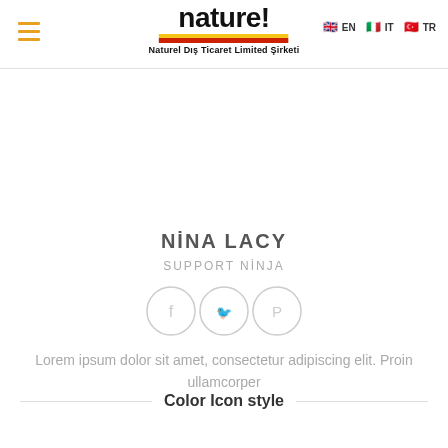naturel! EN IT TR — Naturel Dış Ticaret Limited Şirketi
NİNA LACY
SUPPORT NİNJA
[Figure (illustration): Three circular social media icons (Facebook, Twitter, Pinterest) with light grey outlines]
Lorem ipsum dolor sit amet, consectetur adipiscing elit. Proin ullamcorper
Color Icon style